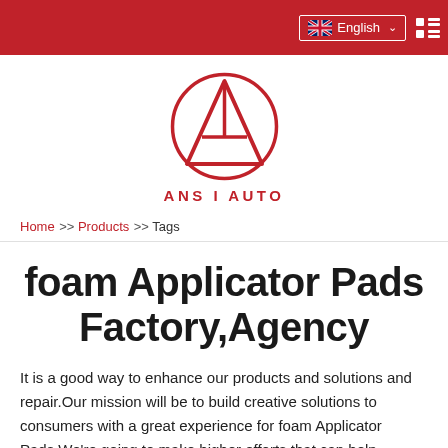English
[Figure (logo): ANSI AUTO logo — red oval with letter A inside and text ANSI AUTO below]
Home >> Products >> Tags
foam Applicator Pads Factory,Agency
It is a good way to enhance our products and solutions and repair.Our mission will be to build creative solutions to consumers with a great experience for foam Applicator Pads,We're going to make higher efforts that can help domestic and international potential buyers, and produce the